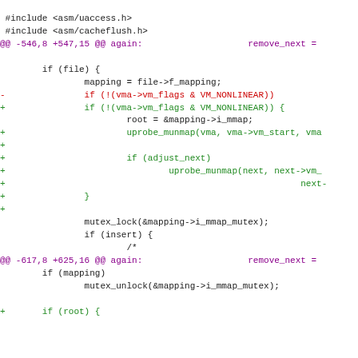Source code diff view showing Linux kernel file mapping changes
#include <asm/uaccess.h>
#include <asm/cacheflush.h>
@@ -546,8 +547,15 @@ again:                                    remove_next =

        if (file) {
                mapping = file->f_mapping;
-               if (!(vma->vm_flags & VM_NONLINEAR))
+               if (!(vma->vm_flags & VM_NONLINEAR)) {
                        root = &mapping->i_mmap;
+                       uprobe_munmap(vma, vma->vm_start, vma
+
+                       if (adjust_next)
+                               uprobe_munmap(next, next->vm_
+                                                        next-
+               }
+
                mutex_lock(&mapping->i_mmap_mutex);
                if (insert) {
                        /*
@@ -617,8 +625,16 @@ again:                                    remove_next =
        if (mapping)
                mutex_unlock(&mapping->i_mmap_mutex);

+       if (root) {